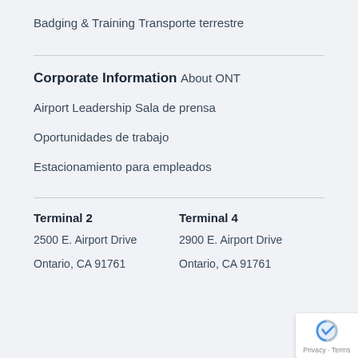Badging & Training
Transporte terrestre
Corporate Information
About ONT
Airport Leadership
Sala de prensa
Oportunidades de trabajo
Estacionamiento para empleados
Terminal 2
2500 E. Airport Drive
Ontario, CA 91761
Terminal 4
2900 E. Airport Drive
Ontario, CA 91761